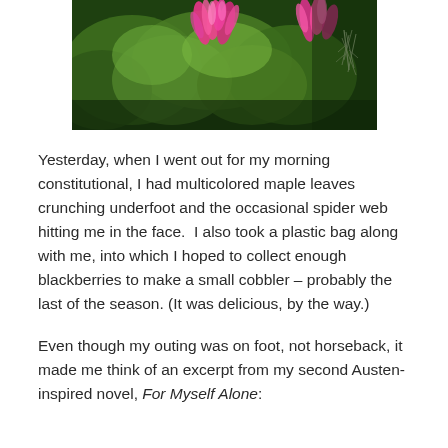[Figure (photo): Close-up photograph of green maple leaves with bright pink feathery flowers (possibly celosia or similar) and some wispy grey-green lichen or moss on the right side, set against a dark foliage background.]
Yesterday, when I went out for my morning constitutional, I had multicolored maple leaves crunching underfoot and the occasional spider web hitting me in the face.  I also took a plastic bag along with me, into which I hoped to collect enough blackberries to make a small cobbler – probably the last of the season. (It was delicious, by the way.)
Even though my outing was on foot, not horseback, it made me think of an excerpt from my second Austen-inspired novel, For Myself Alone: